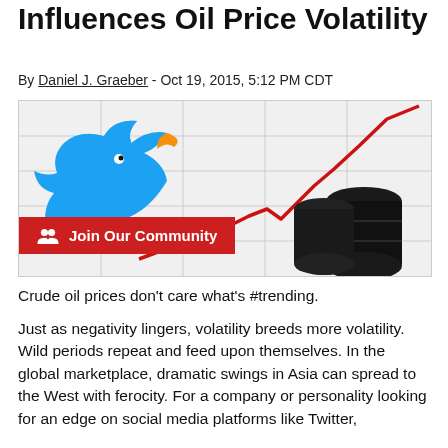Influences Oil Price Volatility
By Daniel J. Graeber - Oct 19, 2015, 5:12 PM CDT
[Figure (illustration): Twitter bird logo on left with a red upward-trending line chart on a graph background and black oil barrels on the right. A red 'Join Our Community' button with a people icon overlaid at the bottom left.]
Crude oil prices don't care what's #trending.
Just as negativity lingers, volatility breeds more volatility. Wild periods repeat and feed upon themselves. In the global marketplace, dramatic swings in Asia can spread to the West with ferocity. For a company or personality looking for an edge on social media platforms like Twitter,